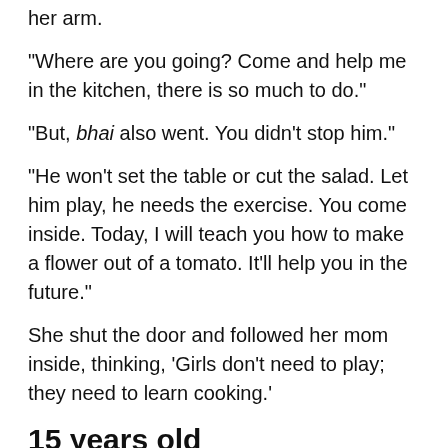her arm.
“Where are you going? Come and help me in the kitchen, there is so much to do.”
“But, bhai also went. You didn’t stop him.”
“He won’t set the table or cut the salad. Let him play, he needs the exercise. You come inside. Today, I will teach you how to make a flower out of a tomato. It’ll help you in the future.”
She shut the door and followed her mom inside, thinking, ‘Girls don’t need to play; they need to learn cooking.’
15 years old
“Mom, I am leaving,” she yelled as she wore her watch.
Her brother, who was sitting on the sofa watching